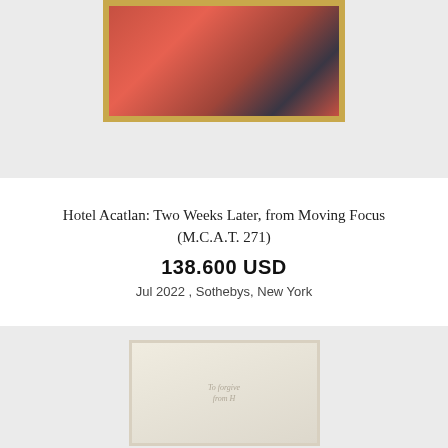[Figure (photo): Framed artwork with gold border showing abstract red and dark figures, displayed on a light gray background. Only the bottom portion of the frame is visible.]
Hotel Acatlan: Two Weeks Later, from Moving Focus (M.C.A.T. 271)
138.600 USD
Jul 2022 , Sothebys, New York
[Figure (photo): A cream/ivory colored artwork or book shown on a light gray background, partially visible, with faint cursive script text in the center.]